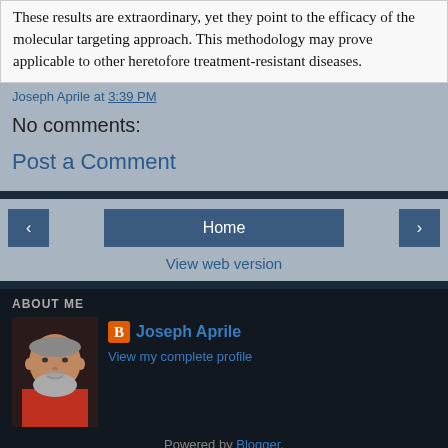These results are extraordinary, yet they point to the efficacy of the molecular targeting approach. This methodology may prove applicable to other heretofore treatment-resistant diseases.
Joseph Aprile at 3:39 PM
No comments:
Post a Comment
Home
View web version
ABOUT ME
Joseph Aprile
View my complete profile
Powered by Blogger.